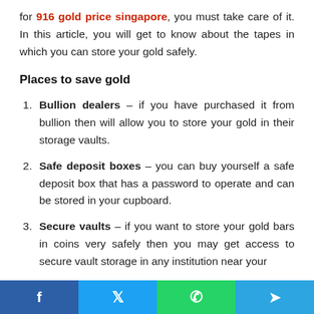for 916 gold price singapore, you must take care of it. In this article, you will get to know about the tapes in which you can store your gold safely.
Places to save gold
Bullion dealers – if you have purchased it from bullion then will allow you to store your gold in their storage vaults.
Safe deposit boxes – you can buy yourself a safe deposit box that has a password to operate and can be stored in your cupboard.
Secure vaults – if you want to store your gold bars in coins very safely then you may get access to secure vault storage in any institution near your